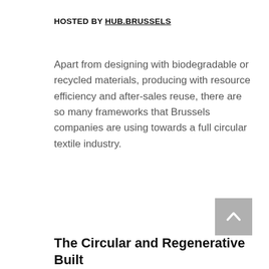HOSTED BY HUB.BRUSSELS
Apart from designing with biodegradable or recycled materials, producing with resource efficiency and after-sales reuse, there are so many frameworks that Brussels companies are using towards a full circular textile industry.
[Figure (other): Back to top button — a grey square with a white upward-pointing chevron arrow icon]
The Circular and Regenerative Built